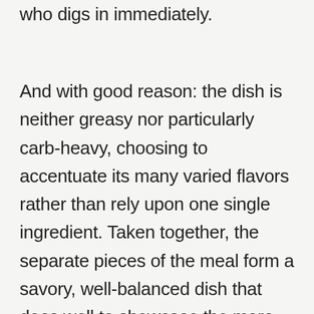who digs in immediately.
And with good reason: the dish is neither greasy nor particularly carb-heavy, choosing to accentuate its many varied flavors rather than rely upon one single ingredient. Taken together, the separate pieces of the meal form a savory, well-balanced dish that does well to showcase the more creative side of